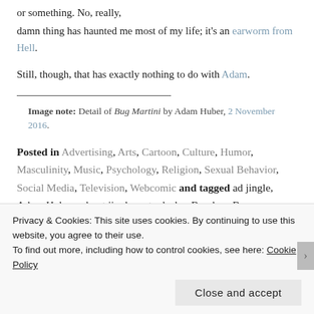or something. No, really,
damn thing has haunted me most of my life; it’s an earworm from Hell.
Still, though, that has exactly nothing to do with Adam.
___
Image note: Detail of Bug Martini by Adam Huber, 2 November 2016.
Posted in Advertising, Arts, Cartoon, Culture, Humor, Masculinity, Music, Psychology, Religion, Sexual Behavior, Social Media, Television, Webcomic and tagged ad jingle, Adam Huber, advert jingle, auto dealer, Bondage Bug (character), Bug Martini, car salesman, earworm, filking, gladiator costume, Hell, heterosexual,
Privacy & Cookies: This site uses cookies. By continuing to use this website, you agree to their use. To find out more, including how to control cookies, see here: Cookie Policy
Close and accept